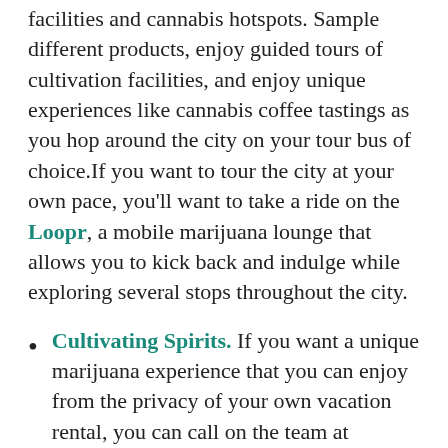facilities and cannabis hotspots. Sample different products, enjoy guided tours of cultivation facilities, and enjoy unique experiences like cannabis coffee tastings as you hop around the city on your tour bus of choice.If you want to tour the city at your own pace, you'll want to take a ride on the Loopr, a mobile marijuana lounge that allows you to kick back and indulge while exploring several stops throughout the city.
Cultivating Spirits. If you want a unique marijuana experience that you can enjoy from the privacy of your own vacation rental, you can call on the team at Cultivating Spirits to come and provide their unique cannabis catering service. Enjoy delicious culinary delights alongside top-shelf cannabis